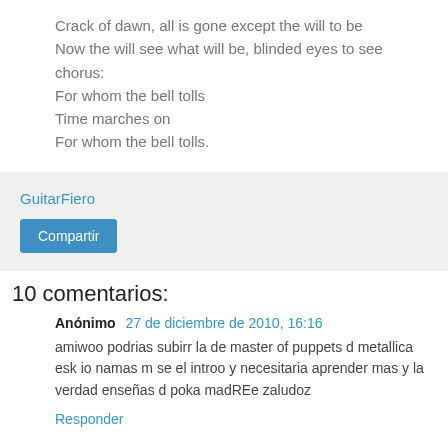Crack of dawn, all is gone except the will to be
Now the will see what will be, blinded eyes to see
chorus:
For whom the bell tolls
Time marches on
For whom the bell tolls.
GuitarFiero
Compartir
10 comentarios:
Anónimo  27 de diciembre de 2010, 16:16
amiwoo podrias subirr la de master of puppets d metallica esk io namas m se el introo y necesitaria aprender mas y la verdad enseñas d poka madREe zaludoz
Responder